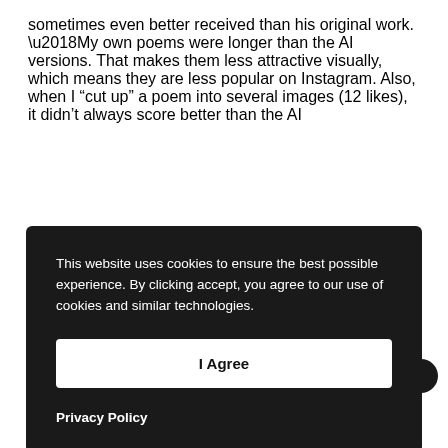sometimes even better received than his original work. ‘My own poems were longer than the AI versions. That makes them less attractive visually, which means they are less popular on Instagram. Also, when I “cut up” a poem into several images (12 likes), it didn’t always score better than the AI
[Figure (screenshot): Cookie consent overlay with dark background. Text reads: 'This website uses cookies to ensure the best possible experience. By clicking accept, you agree to our use of cookies and similar technologies.' Below is a white 'I Agree' button and a bold 'Privacy Policy' link.]
the original. The AI generated the medium (Y...